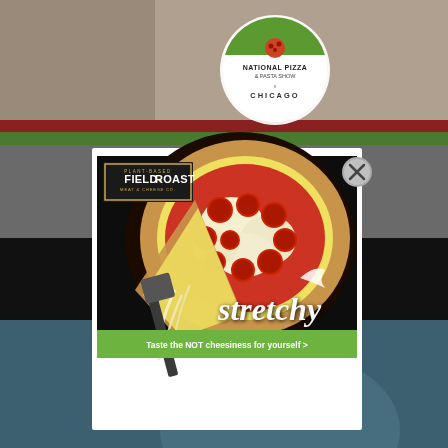[Figure (screenshot): Web page screenshot showing a modal advertisement popup. Background shows partial views of: top area with National Pizza & Pasta Show Chicago logo/banner, middle black banner section, and bottom teal/grey area with person. The modal popup is a Field Roast Plant-Based Meat & Cheese Co. advertisement showing a pepperoni pizza with stretchy cheese being pulled by a pizza server/spatula. The ad has a green call-to-action bar reading 'Taste the NOT cheesiness for yourself >' and a Field Roast logo in the upper left of the ad. A close button (X) appears in the upper right corner of the modal.]